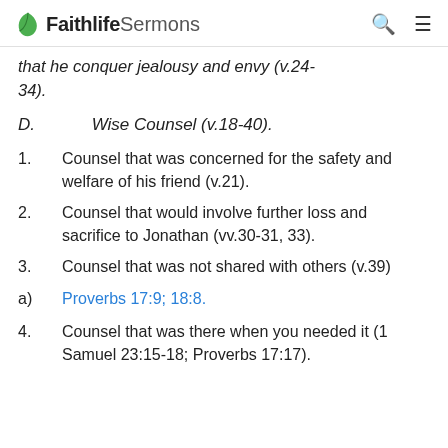Faithlife Sermons
that he conquer jealousy and envy (v.24-34).
D.    Wise Counsel (v.18-40).
1.    Counsel that was concerned for the safety and welfare of his friend (v.21).
2.    Counsel that would involve further loss and sacrifice to Jonathan (vv.30-31, 33).
3.    Counsel that was not shared with others (v.39)
a)    Proverbs 17:9; 18:8.
4.    Counsel that was there when you needed it (1 Samuel 23:15-18; Proverbs 17:17).